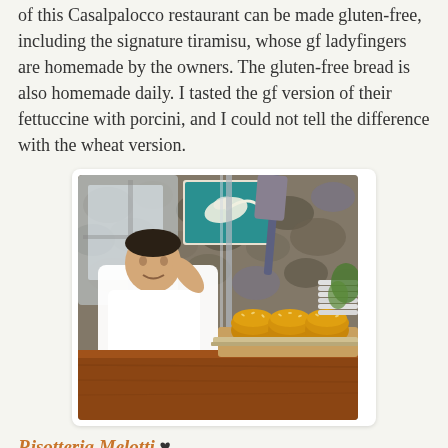of this Casalpalocco restaurant can be made gluten-free, including the signature tiramisu, whose gf ladyfingers are homemade by the owners. The gluten-free bread is also homemade daily. I tasted the gf version of their fettuccine with porcini, and I could not tell the difference with the wheat version.
[Figure (photo): A chef in white uniform standing behind a wooden counter with several loaves of bread on a tray, stone wall and artwork visible in background]
Risotteria Melotti ♥
Everything on the menu of this charming little restaurant at a stone's throw from Piazza Navona is gluten-free. But this is not your average Rome haunt. The menu offers only rice-